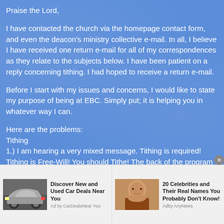Praise the Lord,
I have contacted the church via the homepage contact form, and even the deacon's ministry collective e-mail. In all, I believe I have received one return e-mail for all of my correspondences as they relate to the subjects below. I have been patient on a reply concerning tithing. I had hoped to receive a return e-mail.
Before I start with my issues and concerns, I would like to state my purpose of being at EBC. Simply put; it is helping you in whatever way I can.
Here are the problems:
Tithing
1.) I am hearing a very mixed message. Tithing is required! Tithing is Free-Will! You should Tithe! The back of the program even attempts to place Tithing in the realm of New Testament giving. The program is "not really" saying one must tithe, just a part of the
[Figure (screenshot): Advertisement banner with two ad units: left ad shows a car with text 'Discover New and Used Car Deals Near You' by CarDealsNearYou; right ad shows a celebrity photo with text '20 Celebrities and Their Real Names You Probably Don't Know!' by AnyNews]
Discover New and Used Car Deals Near You | Ad by CarDealsNearYou | 20 Celebrities and Their Real Names You Probably Don't Know! | Adby AnyNews